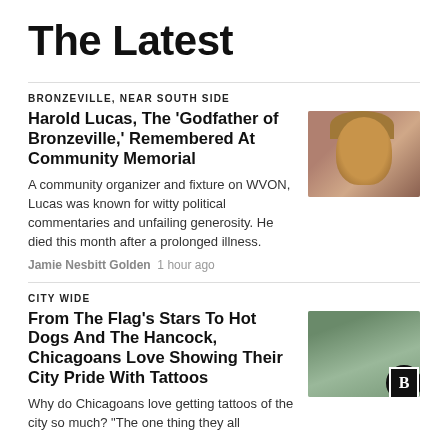The Latest
BRONZEVILLE, NEAR SOUTH SIDE
Harold Lucas, The 'Godfather of Bronzeville,' Remembered At Community Memorial
A community organizer and fixture on WVON, Lucas was known for witty political commentaries and unfailing generosity. He died this month after a prolonged illness.
Jamie Nesbitt Golden  1 hour ago
[Figure (photo): Photo of Harold Lucas, man wearing a hat, smiling]
CITY WIDE
From The Flag's Stars To Hot Dogs And The Hancock, Chicagoans Love Showing Their City Pride With Tattoos
Why do Chicagoans love getting tattoos of the city so much? "The one thing they all
[Figure (photo): Photo showing a tattoo on someone's arm, with a Block Club Chicago logo badge overlay]